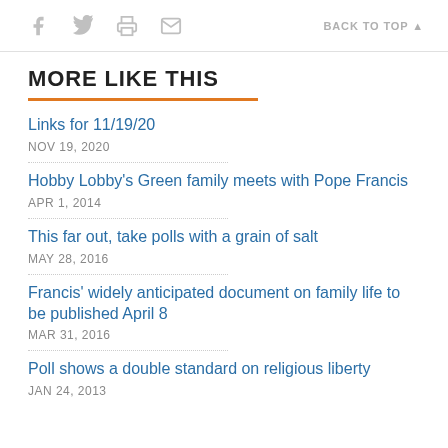f [facebook] [twitter] [print] [mail]  BACK TO TOP ▲
MORE LIKE THIS
Links for 11/19/20
NOV 19, 2020
Hobby Lobby's Green family meets with Pope Francis
APR 1, 2014
This far out, take polls with a grain of salt
MAY 28, 2016
Francis' widely anticipated document on family life to be published April 8
MAR 31, 2016
Poll shows a double standard on religious liberty
JAN 24, 2013